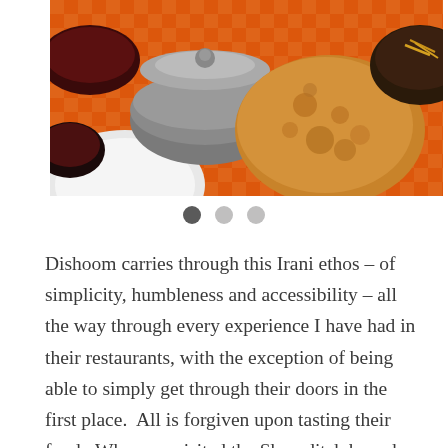[Figure (photo): Overhead view of Indian food spread on an orange checkered tablecloth, showing metal serving dishes with lids, a large puffed bread (poori/bhatura), and various curries and side dishes]
Dishoom carries through this Irani ethos – of simplicity, humbleness and accessibility – all the way through every experience I have had in their restaurants, with the exception of being able to simply get through their doors in the first place.  All is forgiven upon tasting their food.  When we visited the Shoreditch branch last year, all the memories of